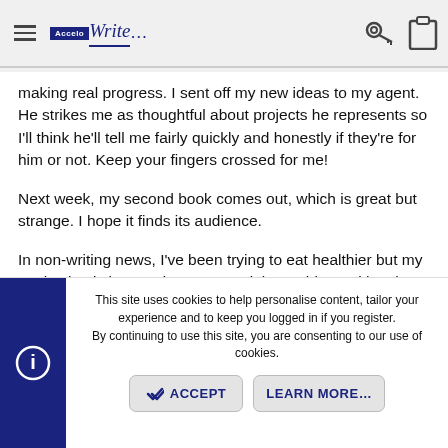AcceloWrite — navigation header
making real progress. I sent off my new ideas to my agent. He strikes me as thoughtful about projects he represents so I'll think he'll tell me fairly quickly and honestly if they're for him or not. Keep your fingers crossed for me!
Next week, my second book comes out, which is great but strange. I hope it finds its audience.
In non-writing news, I've been trying to eat healthier but my motivation is low. And I want to celebrate things with cake. Also, I need to get to the gym. But I haven't done that lately either.
Happy Friday Check-in!
This site uses cookies to help personalise content, tailor your experience and to keep you logged in if you register. By continuing to use this site, you are consenting to our use of cookies.